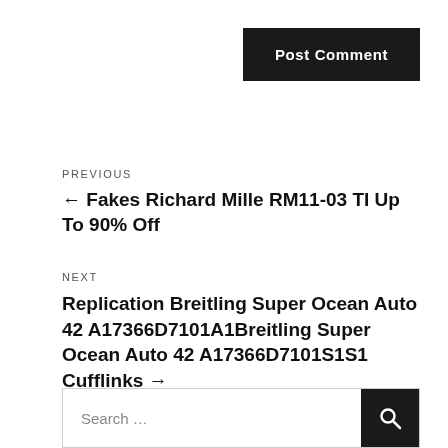Post Comment
PREVIOUS
← Fakes Richard Mille RM11-03 TI Up To 90% Off
NEXT
Replication Breitling Super Ocean Auto 42 A17366D7101A1Breitling Super Ocean Auto 42 A17366D7101S1S1 Cufflinks →
Search …